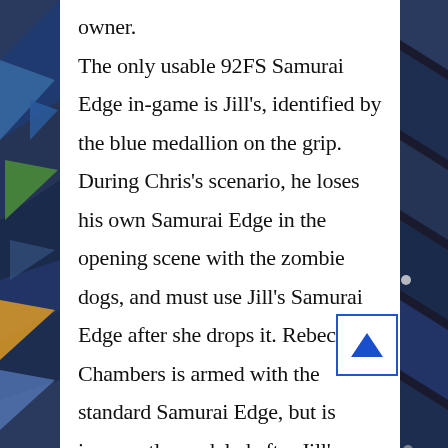owner. The only usable 92FS Samurai Edge in-game is Jill's, identified by the blue medallion on the grip. During Chris's scenario, he loses his own Samurai Edge in the opening scene with the zombie dogs, and must use Jill's Samurai Edge after she drops it. Rebecca Chambers is armed with the standard Samurai Edge, but is incorrectly modeled after Jill's (Resident Evil 0 corrects this mistake). Wesker's Samurai Edge is a further modified two-